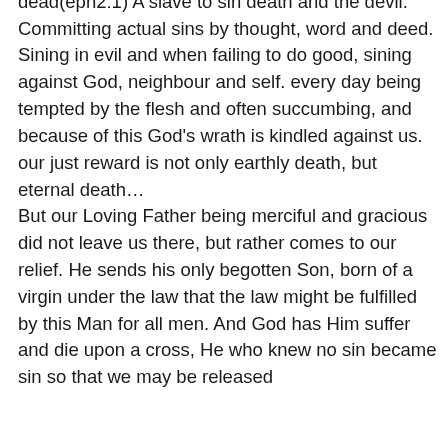5:12) brought forth into this world spirtually dead(eph2:1) A slave to sin death and the devil. Committing actual sins by thought, word and deed. Sining in evil and when failing to do good, sining against God, neighbour and self. every day being tempted by the flesh and often succumbing, and because of this God's wrath is kindled against us. our just reward is not only earthly death, but eternal death… But our Loving Father being merciful and gracious did not leave us there, but rather comes to our relief. He sends his only begotten Son, born of a virgin under the law that the law might be fulfilled by this Man for all men. And God has Him suffer and die upon a cross, He who knew no sin became sin so that we may be released